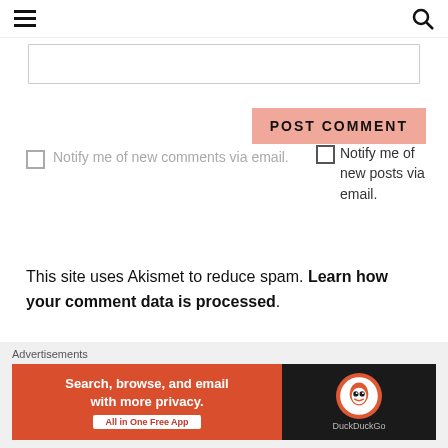≡  🔍
Notify me of new comments via email.
POST COMMENT
Notify me of new posts via email.
This site uses Akismet to reduce spam. Learn how your comment data is processed.
Advertisements
[Figure (screenshot): DuckDuckGo advertisement banner: 'Search, browse, and email with more privacy. All in One Free App' with DuckDuckGo logo on dark background]